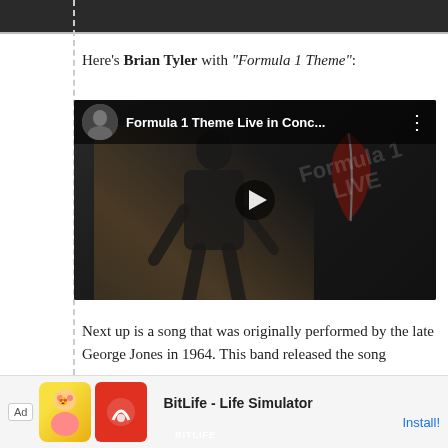[Figure (photo): Top portion of a person's photo, cropped, dark background]
Here's Brian Tyler with "Formula 1 Theme":
[Figure (screenshot): YouTube video embed showing 'Formula 1 Theme Live in Conc...' with a performer on stage, F1 logo watermark, play button in center]
Next up is a song that was originally performed by the late George Jones in 1964. This band released the song
[Figure (other): Advertisement banner for BitLife - Life Simulator app with Install button]